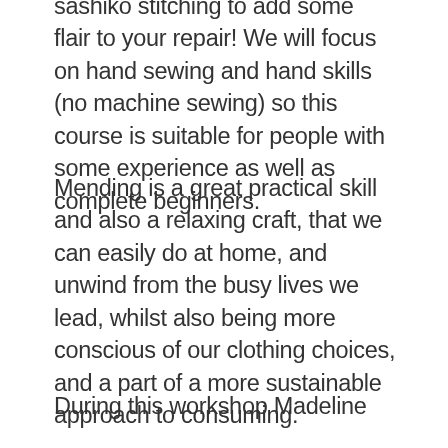sashiko stitching to add some flair to your repair! We will focus on hand sewing and hand skills (no machine sewing) so this course is suitable for people with some experience as well as complete beginners.
Mending is a great practical skill and also a relaxing craft, that we can easily do at home, and unwind from the busy lives we lead, whilst also being more conscious of our clothing choices, and a part of a more sustainable approach to consuming.
During this workshop Madeline